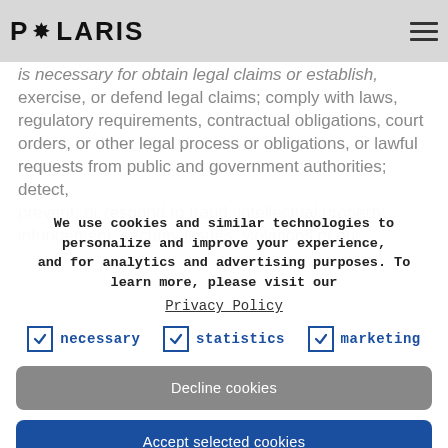POLARIS
is necessary for obtain legal advice or establish, exercise, or defend legal claims; comply with laws, regulatory requirements, contractual obligations, court orders, or other legal process or obligations, or lawful requests from public and government authorities; detect, prevent, or respond to fraud, intellectual property infringement, security issues, violations of our
We use cookies and similar technologies to personalize and improve your experience, and for analytics and advertising purposes. To learn more, please visit our
Privacy Policy
necessary | statistics | marketing
Decline cookies
Accept selected cookies